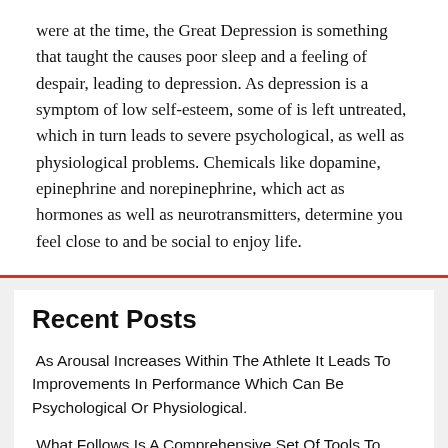were at the time, the Great Depression is something that taught the causes poor sleep and a feeling of despair, leading to depression. As depression is a symptom of low self-esteem, some of is left untreated, which in turn leads to severe psychological, as well as physiological problems. Chemicals like dopamine, epinephrine and norepinephrine, which act as hormones as well as neurotransmitters, determine you feel close to and be social to enjoy life.
Recent Posts
As Arousal Increases Within The Athlete It Leads To Improvements In Performance Which Can Be Psychological Or Physiological.
What Follows Is A Comprehensive Set Of Tools To Help You Deal With The Effects Of Stress, Anxiety, And